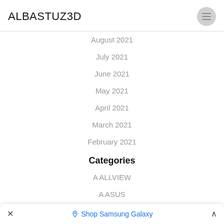ALBASTUZ3D
August 2021
July 2021
June 2021
May 2021
April 2021
March 2021
February 2021
Categories
A ALLVIEW
A ASUS
a phones
Shop Samsung Galaxy